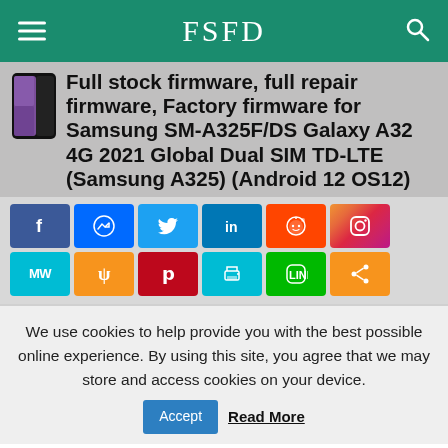FSFD
Full stock firmware, full repair firmware, Factory firmware for Samsung SM-A325F/DS Galaxy A32 4G 2021 Global Dual SIM TD-LTE (Samsung A325) (Android 12 OS12)
[Figure (infographic): Social media share buttons: Facebook, Messenger, Twitter, LinkedIn, Reddit, Instagram, MW, Yandex, Pinterest, Print, Line, Share]
We use cookies to help provide you with the best possible online experience. By using this site, you agree that we may store and access cookies on your device.